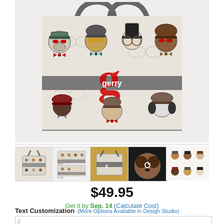[Figure (photo): A personalized tote bag with hipster dog pattern — dogs wearing hats and glasses — and a large red letter 'g' with 'gerry' on a gray banner across the middle. The bag has gray handles.]
[Figure (photo): Thumbnail 1: Front view of the same tote bag with hipster dog pattern.]
[Figure (photo): Thumbnail 2: Flat lay showing front and back panels of the bag.]
[Figure (photo): Thumbnail 3: Close-up of the bag fabric with a wooden frame or surface.]
[Figure (photo): Thumbnail 4: Close-up of a dog face detail on the bag.]
[Figure (photo): Thumbnail 5: Design sheet showing various hipster dog character illustrations.]
$49.95
Get it by Sep. 14 (Calculate Cost)
Text Customization (More Options Available in Design Studio)